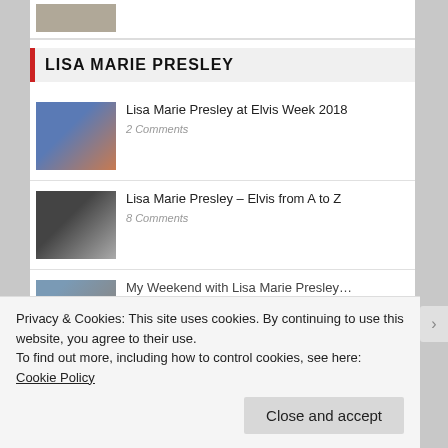[Figure (photo): Small thumbnail image at top of page]
LISA MARIE PRESLEY
[Figure (photo): Thumbnail for Lisa Marie Presley at Elvis Week 2018 article]
Lisa Marie Presley at Elvis Week 2018
2 Comments
[Figure (photo): Thumbnail for Lisa Marie Presley – Elvis from A to Z article]
Lisa Marie Presley – Elvis from A to Z
8 Comments
[Figure (photo): Thumbnail for partial third article]
My Weekend with Lisa Marie Presley…
Privacy & Cookies: This site uses cookies. By continuing to use this website, you agree to their use.
To find out more, including how to control cookies, see here: Cookie Policy
Close and accept